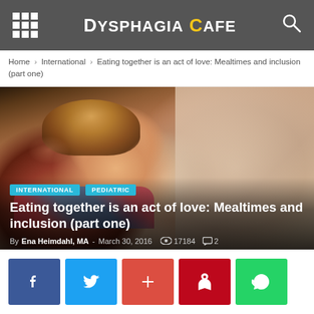Dysphagia Cafe
Home › International › Eating together is an act of love: Mealtimes and inclusion (part one)
[Figure (photo): Close-up photo of a young child with curly blonde hair looking down, overlaid with category tags INTERNATIONAL and PEDIATRIC, article title 'Eating together is an act of love: Mealtimes and inclusion (part one)', and byline 'By Ena Heimdahl, MA - March 30, 2016  17184  2']
By Ena Heimdahl, MA - March 30, 2016  17184  2